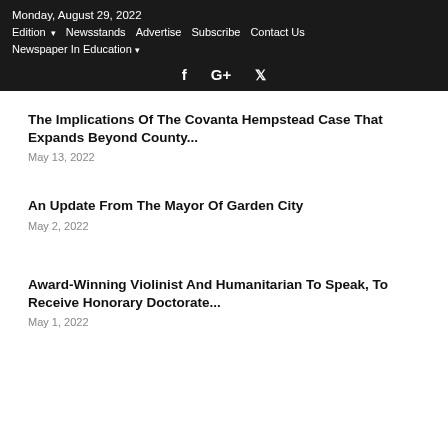Monday, August 29, 2022
Edition ▾   Newsstands   Advertise   Subscribe   Contact Us
Newspaper In Education ▾
f  G+  🐦
The Implications Of The Covanta Hempstead Case That Expands Beyond County...
May 13, 2022
An Update From The Mayor Of Garden City
May 2, 2022
Award-Winning Violinist And Humanitarian To Speak, To Receive Honorary Doctorate...
May 1, 2022